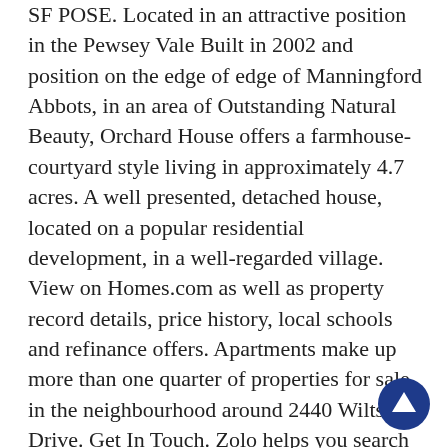SF POSE. Located in an attractive position in the Pewsey Vale Built in 2002 and position on the edge of edge of Manningford Abbots, in an area of Outstanding Natural Beauty, Orchard House offers a farmhouse-courtyard style living in approximately 4.7 acres. A well presented, detached house, located on a popular residential development, in a well-regarded village. View on Homes.com as well as property record details, price history, local schools and refinance offers. Apartments make up more than one quarter of properties for sale in the neighbourhood around 2440 Wiltse Drive. Get In Touch. Zolo helps you search for your perfect home out of the 56 homes for sale in PE Wiltse/Valleyview and browse 408 homes on the Penticton MLS® system.Search by location with our map of MLS® listings for Canada-wide real estate. Gaithersburg MD Homes for Sale and Real Estate. 2559 7th Ave E, North St Paul, MN. MLS # 392920 View sales history, tax history, home value estimates, and overhead views. Shared ownership. View 20 homes for sale in Standish, MI at a
[Figure (other): Dark blue circular scroll-to-top button with upward pointing triangle arrow, positioned at bottom right of page]